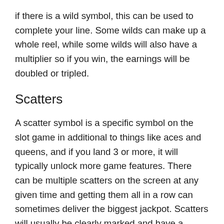if there is a wild symbol, this can be used to complete your line. Some wilds can make up a whole reel, while some wilds will also have a multiplier so if you win, the earnings will be doubled or tripled.
Scatters
A scatter symbol is a specific symbol on the slot game in additional to things like aces and queens, and if you land 3 or more, it will typically unlock more game features. There can be multiple scatters on the screen at any given time and getting them all in a row can sometimes deliver the biggest jackpot. Scatters will usually be clearly marked and have a unique design depending on the slot game. They are sometimes known as a player's best friend.